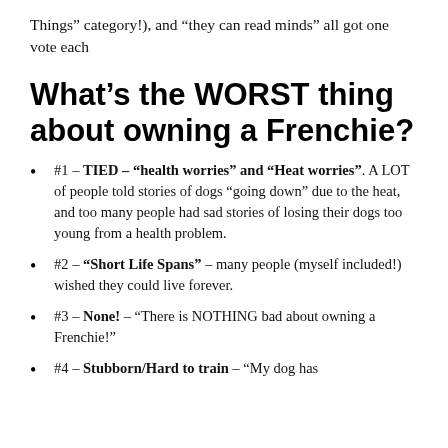Things” category!), and “they can read minds” all got one vote each
What’s the WORST thing about owning a Frenchie?
#1 – TIED – “health worries” and “Heat worries”. A LOT of people told stories of dogs “going down” due to the heat, and too many people had sad stories of losing their dogs too young from a health problem.
#2 – “Short Life Spans” – many people (myself included!) wished they could live forever.
#3 – None! – “There is NOTHING bad about owning a Frenchie!”
#4 – Stubborn/Hard to train – “My dog has